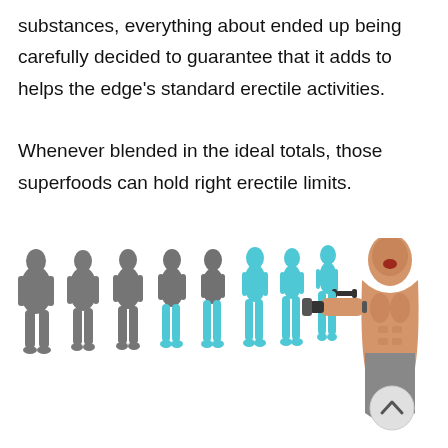substances, everything about ended up being carefully decided to guarantee that it adds to helps the edge's standard erectile activities.

Whenever blended in the ideal totals, those superfoods can hold right erectile limits.
[Figure (illustration): A row of 9 male silhouettes progressing from overweight gray figures on the left to slimmer cyan/blue figures on the right, representing body transformation. On the far right, a muscular man is shown flexing and holding a dumbbell. A scroll-up button (chevron) is visible at the bottom right.]